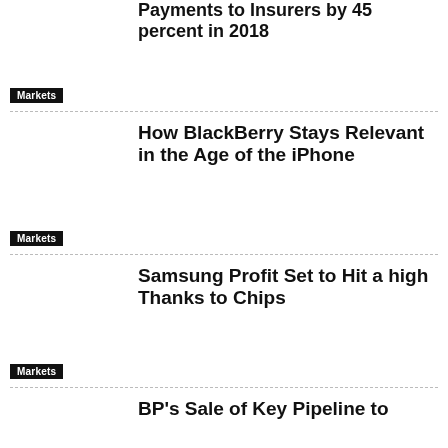Payments to Insurers by 45 percent in 2018
Markets
How BlackBerry Stays Relevant in the Age of the iPhone
Markets
Samsung Profit Set to Hit a high Thanks to Chips
Markets
BP's Sale of Key Pipeline to